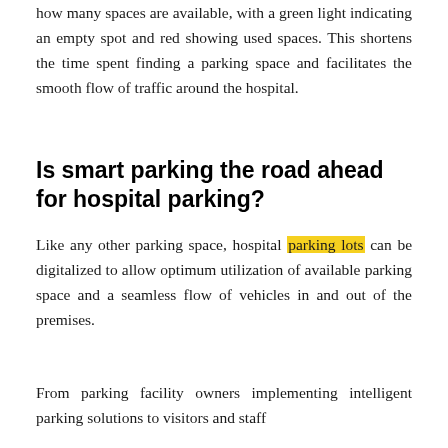with the aid of LED indicators, the driver can know how many spaces are available, with a green light indicating an empty spot and red showing used spaces. This shortens the time spent finding a parking space and facilitates the smooth flow of traffic around the hospital.
Is smart parking the road ahead for hospital parking?
Like any other parking space, hospital parking lots can be digitalized to allow optimum utilization of available parking space and a seamless flow of vehicles in and out of the premises.
From parking facility owners implementing intelligent parking solutions to visitors and staff